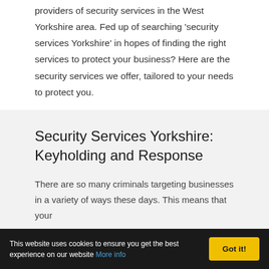providers of security services in the West Yorkshire area. Fed up of searching 'security services Yorkshire' in hopes of finding the right services to protect your business? Here are the security services we offer, tailored to your needs to protect you.
Security Services Yorkshire: Keyholding and Response
There are so many criminals targeting businesses in a variety of ways these days. This means that your
This website uses cookies to ensure you get the best experience on our website More info